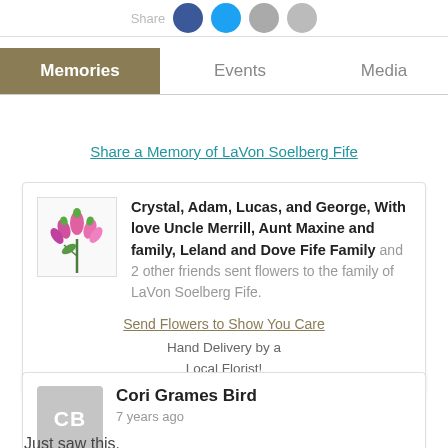Share
Memories	Events	Media
Share a Memory of LaVon Soelberg Fife
[Figure (illustration): Flower bouquet with pink tulips]
Crystal, Adam, Lucas, and George, With love Uncle Merrill, Aunt Maxine and family, Leland and Dove Fife Family and 2 other friends sent flowers to the family of LaVon Soelberg Fife.
Send Flowers to Show You Care
Hand Delivery by a Local Florist!
Cori Grames Bird
7 years ago
Just saw this.